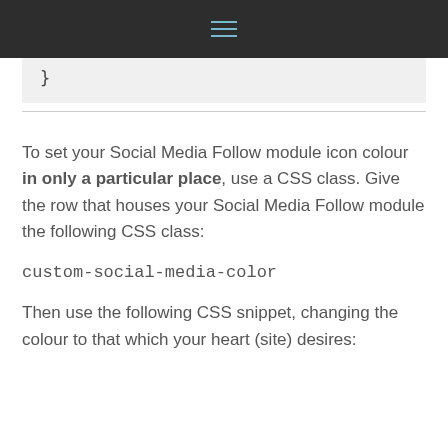≡
}
To set your Social Media Follow module icon colour in only a particular place, use a CSS class. Give the row that houses your Social Media Follow module the following CSS class:
custom-social-media-color
Then use the following CSS snippet, changing the colour to that which your heart (site) desires: